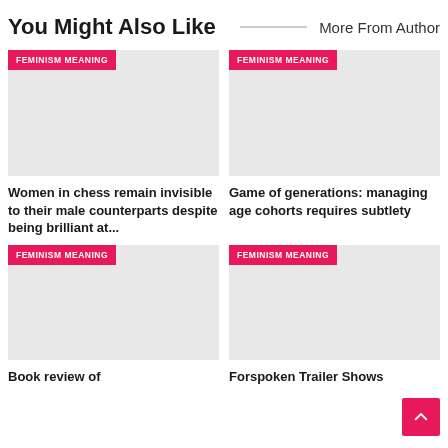You Might Also Like
More From Author
[Figure (other): Article thumbnail placeholder with FEMINISM MEANING tag — Women in chess remain invisible to their male counterparts despite being brilliant at...]
[Figure (other): Article thumbnail placeholder with FEMINISM MEANING tag — Game of generations: managing age cohorts requires subtlety]
Women in chess remain invisible to their male counterparts despite being brilliant at...
Game of generations: managing age cohorts requires subtlety
[Figure (other): Article thumbnail placeholder with FEMINISM MEANING tag — Book review of...]
[Figure (other): Article thumbnail placeholder with FEMINISM MEANING tag — Forspoken Trailer Shows...]
Book review of
Forspoken Trailer Shows